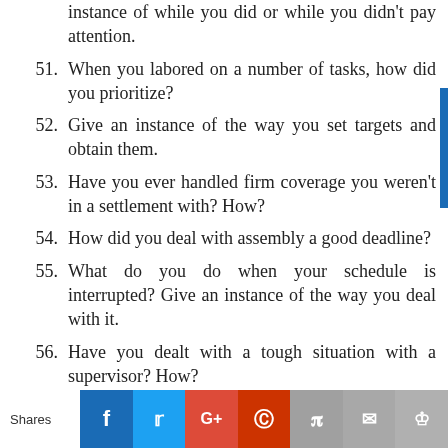instance of while you did or while you didn't pay attention.
51. When you labored on a number of tasks, how did you prioritize?
52. Give an instance of the way you set targets and obtain them.
53. Have you ever handled firm coverage you weren't in a settlement with? How?
54. How did you deal with assembly a good deadline?
55. What do you do when your schedule is interrupted? Give an instance of the way you deal with it.
56. Have you dealt with a tough situation with a supervisor? How?
57. Have you dealt with a tough situation